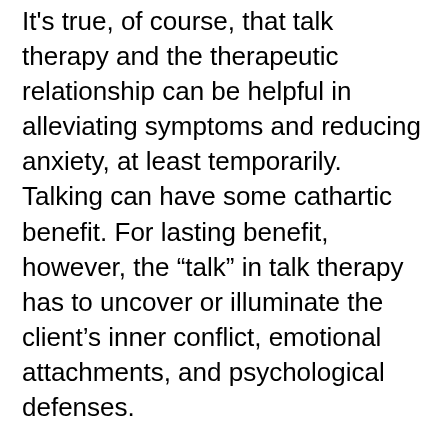It's true, of course, that talk therapy and the therapeutic relationship can be helpful in alleviating symptoms and reducing anxiety, at least temporarily. Talking can have some cathartic benefit. For lasting benefit, however, the “talk” in talk therapy has to uncover or illuminate the client’s inner conflict, emotional attachments, and psychological defenses.
Good therapists are teachers and healers, not hand-holders or cheerleaders. Of course, good therapists are not part of a “consecrated priesthood,” unwilling, as Dworkin implies, to smile or be friendly. It’s true—we are not interested in becoming the client’s newfound